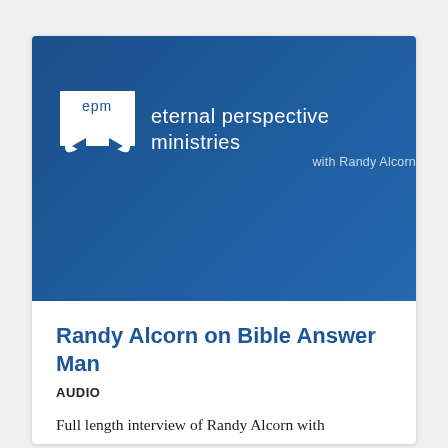[Figure (logo): Eternal Perspective Ministries logo on blue banner background. White square with 'epm' text and infinity/fish symbol icon, beside text 'eternal perspective ministries with Randy Alcorn']
Randy Alcorn on Bible Answer Man
AUDIO
Full length interview of Randy Alcorn with